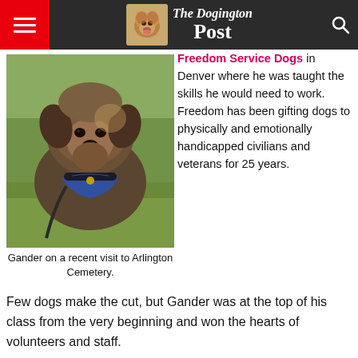The Dogington Post
[Figure (photo): A shaggy brown dog wearing a blue bandana sitting on green grass, Gander on a recent visit to Arlington Cemetery.]
Gander on a recent visit to Arlington Cemetery.
Freedom Service Dogs in Denver where he was taught the skills he would need to work. Freedom has been gifting dogs to physically and emotionally handicapped civilians and veterans for 25 years.  Few dogs make the cut, but Gander was at the top of his class from the very beginning and won the hearts of volunteers and staff.
Earlier this year Gander proved to be a real life hero by